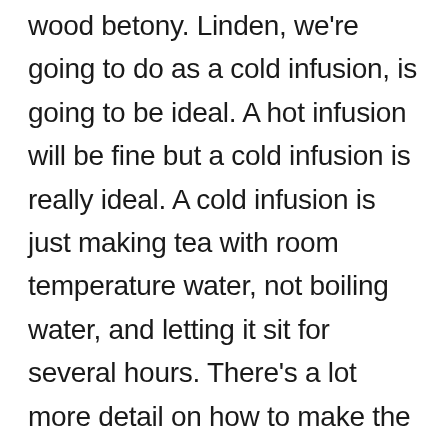wood betony. Linden, we're going to do as a cold infusion, is going to be ideal. A hot infusion will be fine but a cold infusion is really ideal. A cold infusion is just making tea with room temperature water, not boiling water, and letting it sit for several hours. There's a lot more detail on how to make the different types of infusion in the Medicine-Making course online. But Linden, it's great to do as a cold infusion because it's going to be so moistening and soothing and cooling. Lemon balm is cooling also. Really all of these are very cooling plants. So with the linden and the lemon balm we're really looking at cooling off the...